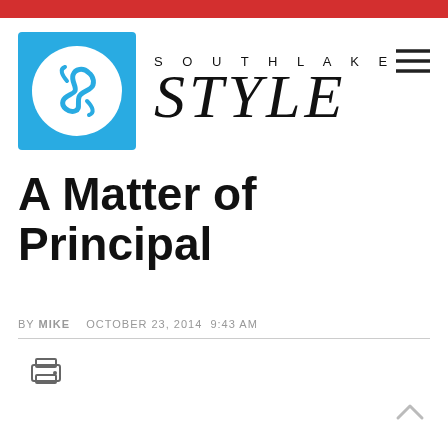Southlake Style
A Matter of Principal
BY MIKE   OCTOBER 23, 2014  9:43 AM
[Figure (logo): Print icon]